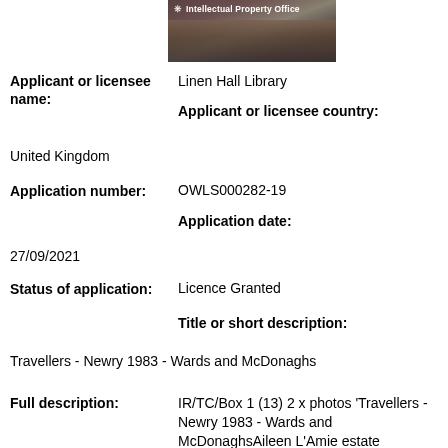[Figure (photo): Intellectual Property Office logo banner with photo of people in background]
Applicant or licensee name:
Linen Hall Library
Applicant or licensee country:
United Kingdom
Application number:
OWLS000282-19
Application date:
27/09/2021
Status of application:
Licence Granted
Title or short description:
Travellers - Newry 1983 - Wards and McDonaghs
Full description:
IR/TC/Box 1 (13) 2 x photos 'Travellers - Newry 1983 - Wards and McDonaghsAileen L'Amie estate